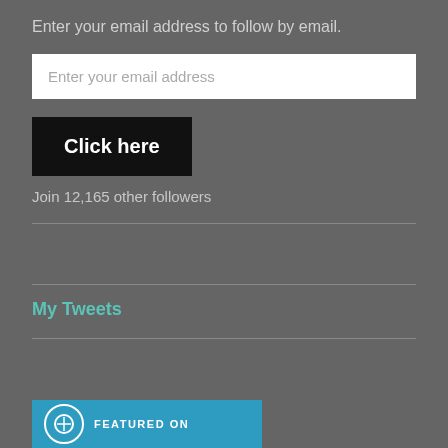Enter your email address to follow by email.
Enter your email address
Click here
Join 12,165 other followers
My Tweets
[Figure (screenshot): Blue featured on banner with circular icon at bottom of page]